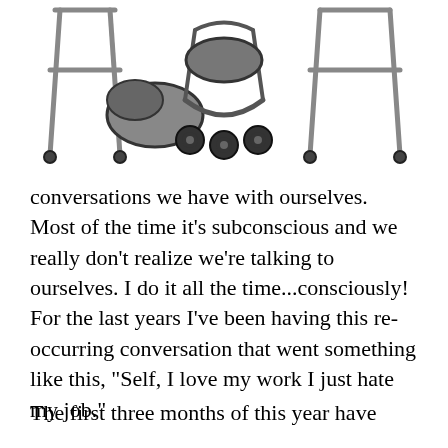[Figure (illustration): Cartoon illustration showing two walkers/frames on the left and right sides, with a rollator walker in the center, all drawn in black and white with gray shading]
conversations we have with ourselves. Most of the time it’s subconscious and we really don’t realize we’re talking to ourselves. I do it all the time...consciously! For the last years I’ve been having this re-occurring conversation that went something like this, “Self, I love my work I just hate my job.”
The first three months of this year have